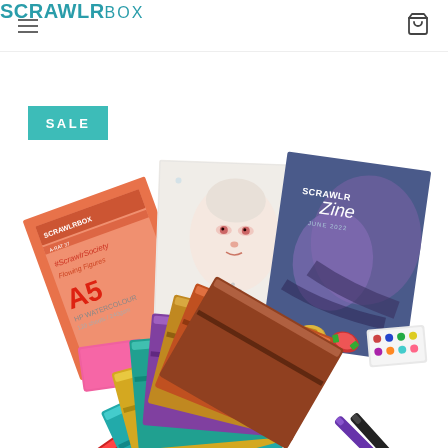ScrawlrBox — navigation header with hamburger menu and cart icon
[Figure (photo): ScrawlrBox art supply subscription box product photo showing watercolor paper pads, ScrawlrZine magazine, pink eraser, colorful metallic zip-lock envelopes fanned out, candy pieces, watercolor paint sets, and a purple pen/marker on a white background. A teal SALE badge overlays the top-left.]